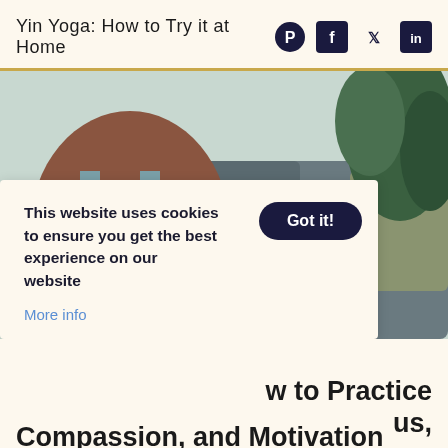Yin Yoga: How to Try it at Home
[Figure (photo): Woman in blue tank top sitting cross-legged on a couch in a meditation pose, one hand resting open, wearing a bead bracelet, with plants in the background]
This website uses cookies to ensure you get the best experience on our website
More info
w to Practice
us,
Compassion, and Motivation